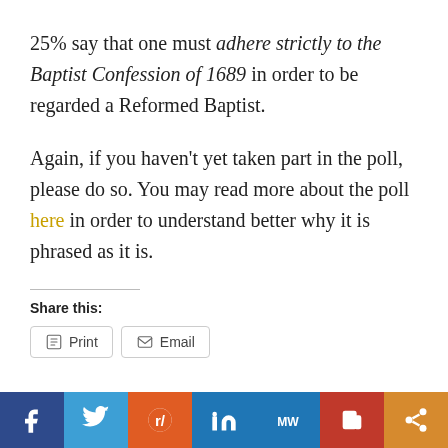25% say that one must adhere strictly to the Baptist Confession of 1689 in order to be regarded a Reformed Baptist.
Again, if you haven't yet taken part in the poll, please do so. You may read more about the poll here in order to understand better why it is phrased as it is.
Share this:
Print   Email